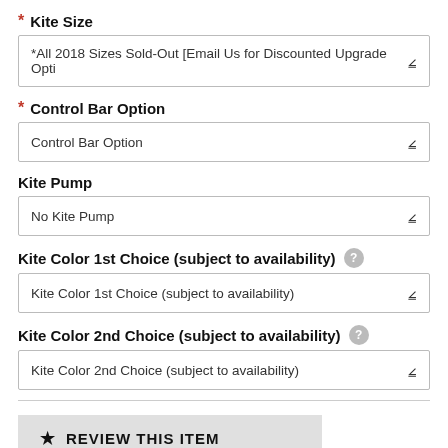* Kite Size
*All 2018 Sizes Sold-Out [Email Us for Discounted Upgrade Opti
* Control Bar Option
Control Bar Option
Kite Pump
No Kite Pump
Kite Color 1st Choice (subject to availability) ?
Kite Color 1st Choice (subject to availability)
Kite Color 2nd Choice (subject to availability) ?
Kite Color 2nd Choice (subject to availability)
REVIEW THIS ITEM